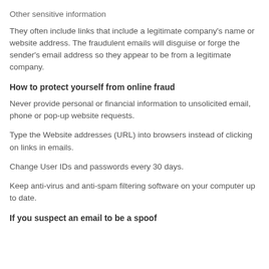Other sensitive information
They often include links that include a legitimate company's name or website address. The fraudulent emails will disguise or forge the sender's email address so they appear to be from a legitimate company.
How to protect yourself from online fraud
Never provide personal or financial information to unsolicited email, phone or pop-up website requests.
Type the Website addresses (URL) into browsers instead of clicking on links in emails.
Change User IDs and passwords every 30 days.
Keep anti-virus and anti-spam filtering software on your computer up to date.
If you suspect an email to be a spoof